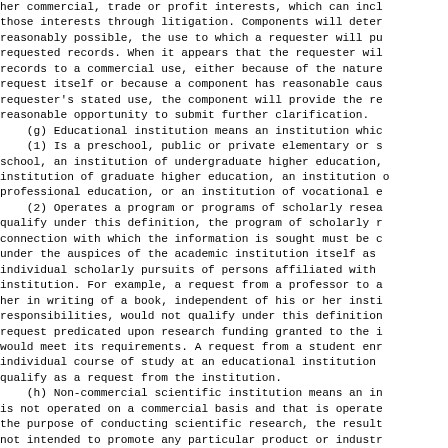her commercial, trade or profit interests, which can include those interests through litigation. Components will determine, reasonably possible, the use to which a requester will put the requested records. When it appears that the requester will put the records to a commercial use, either because of the nature of the request itself or because a component has reasonable cause to doubt the requester's stated use, the component will provide the requester a reasonable opportunity to submit further clarification.
    (g) Educational institution means an institution which:
    (1) Is a preschool, public or private elementary or secondary school, an institution of undergraduate higher education, an institution of graduate higher education, an institution of professional education, or an institution of vocational education;
    (2) Operates a program or programs of scholarly research. To qualify under this definition, the program of scholarly research in connection with which the information is sought must be conducted under the auspices of the academic institution itself as opposed to individual scholarly pursuits of persons affiliated with the institution. For example, a request from a professor to assist him or her in writing of a book, independent of his or her institutional responsibilities, would not qualify under this definition, whereas a request predicated upon research funding granted to the institution would meet its requirements. A request from a student enrolled in an individual course of study at an educational institution would not qualify as a request from the institution.
    (h) Non-commercial scientific institution means an institution that is not operated on a commercial basis and that is operated solely for the purpose of conducting scientific research, the results of which are not intended to promote any particular product or industry.
    (i) Representative of the news media means any person actively gathering news for an entity that is organized and operated